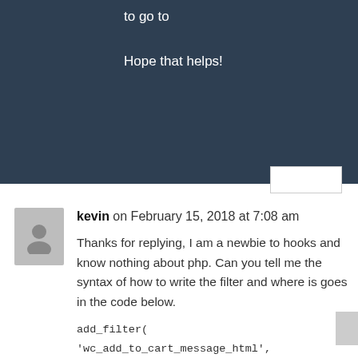to go to
Hope that helps!
kevin on February 15, 2018 at 7:08 am
Thanks for replying, I am a newbie to hooks and know nothing about php. Can you tell me the syntax of how to write the filter and where is goes in the code below.
add_filter( 'wc_add_to_cart_message_html', 'add_continue_shopping_button', 10, 2);
function add_continue_shopping_button( $message, $products ){
$message .= sprintf( '%s', esc_url(
wc_get_page_permalink('shop'), esc_html_(